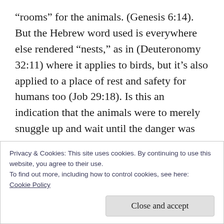“rooms” for the animals. (Genesis 6:14). But the Hebrew word used is everywhere else rendered “nests,” as in (Deuteronomy 32:11) where it applies to birds, but it’s also applied to a place of rest and safety for humans too (Job 29:18). Is this an indication that the animals were to merely snuggle up and wait until the danger was over?
There is no way of knowing, of course, because this was a unique event, not repeatable nor
Privacy & Cookies: This site uses cookies. By continuing to use this website, you agree to their use.
To find out more, including how to control cookies, see here:
Cookie Policy
Close and accept